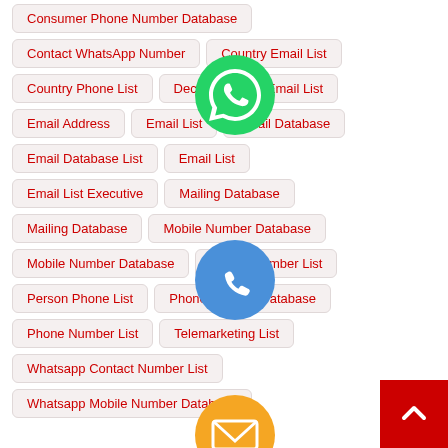Consumer Phone Number Database
Contact WhatsApp Number
Country Email List
Country Phone List
Decision Maker Email List
Email Address
Email List
Email Database
Email Database List
Email List
Email List Executive
Mailing Database
Mailing Database
Mobile Number Database
Mobile Number Database
Mobile Number List
Person Phone List
Phone Number Database
Phone Number List
Telemarketing List
Whatsapp Contact Number List
Whatsapp Mobile Number Database
[Figure (illustration): WhatsApp green circle icon with phone handset]
[Figure (illustration): Blue phone circle icon]
[Figure (illustration): Orange email/envelope circle icon]
[Figure (illustration): LINE green circle icon]
[Figure (illustration): Viber purple circle icon]
[Figure (illustration): Green circle with X (close) icon]